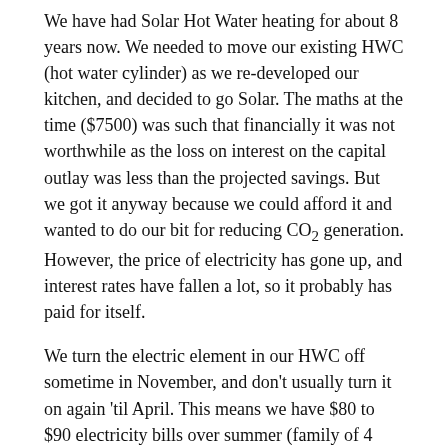We have had Solar Hot Water heating for about 8 years now. We needed to move our existing HWC (hot water cylinder) as we re-developed our kitchen, and decided to go Solar. The maths at the time ($7500) was such that financially it was not worthwhile as the loss on interest on the capital outlay was less than the projected savings. But we got it anyway because we could afford it and wanted to do our bit for reducing CO2 generation. However, the price of electricity has gone up, and interest rates have fallen a lot, so it probably has paid for itself.
We turn the electric element in our HWC off sometime in November, and don't usually turn it on again 'til April. This means we have $80 to $90 electricity bills over summer (family of 4 with 2 teenagers). In winter this goes to $150 or so, because we do use electric heating, (though we do not keep the house at a comfortable temperature all the time - we wear more clothes). Whenever I've discussed this with people they've been astounded that our bills are so low.